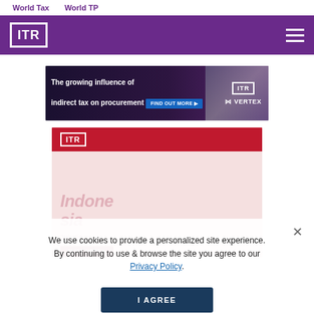World Tax   World TP
[Figure (logo): ITR logo in white on purple header bar with hamburger menu icon]
[Figure (infographic): Advertisement banner: 'The growing influence of indirect tax on procurement' with ITR and VERTEX logos and FIND OUT MORE button]
[Figure (infographic): ITR Indonesia guide card with red header bar, ITR logo, 'Indonesia' text, '3rd edition', and CLICK HERE button]
We use cookies to provide a personalized site experience. By continuing to use & browse the site you agree to our Privacy Policy.
I AGREE